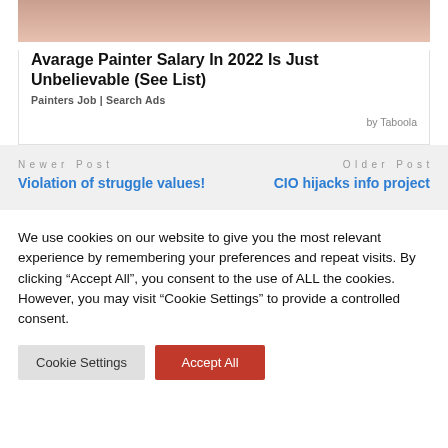[Figure (photo): Partial photo at top of card, showing a person, cropped]
Avarage Painter Salary In 2022 Is Just Unbelievable (See List)
Painters Job | Search Ads
by Taboola
Newer Post
Violation of struggle values!
Older Post
CIO hijacks info project
We use cookies on our website to give you the most relevant experience by remembering your preferences and repeat visits. By clicking “Accept All”, you consent to the use of ALL the cookies. However, you may visit "Cookie Settings" to provide a controlled consent.
Cookie Settings
Accept All